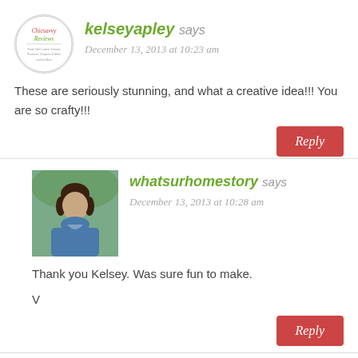[Figure (logo): Chicsavvy Reviews circular logo avatar]
kelseyapley says
December 13, 2013 at 10:23 am
These are seriously stunning, and what a creative idea!!! You are so crafty!!!
Reply
[Figure (photo): Profile photo of whatsurhomestory author, woman with dark hair wearing blue]
whatsurhomestory says
December 13, 2013 at 10:28 am
Thank you Kelsey. Was sure fun to make.

V
Reply